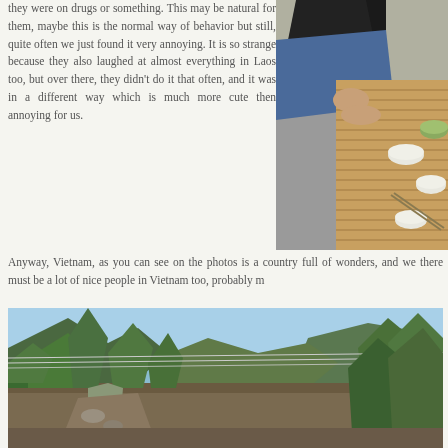they were on drugs or something. This may be natural for them, maybe this is the normal way of behavior but still, quite often we just found it very annoying. It is so strange because they also laughed at almost everything in Laos too, but over there, they didn't do it that often, and it was in a different way which is much more cute then annoying for us.
[Figure (photo): A person sitting cross-legged on a woven mat, reaching forward, with bowls and chopsticks visible on the mat around them]
Anyway, Vietnam, as you can see on the photos is a country full of wonders, and we there must be a lot of nice people in Vietnam too, probably m
[Figure (photo): Outdoor landscape photo of a valley road or path with lush green tropical vegetation, bamboo, power lines crossing the scene, and mountains/hills in the background under a clear blue sky]